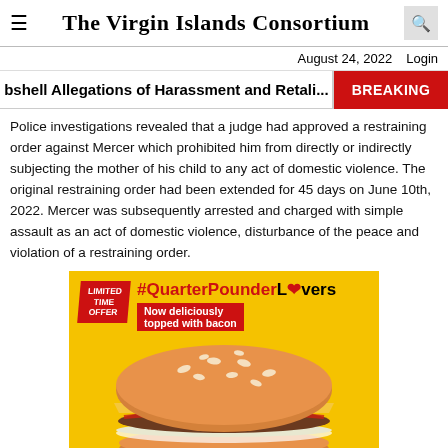The Virgin Islands Consortium
August 24, 2022  Login
bshell Allegations of Harassment and Retali...
BREAKING
Police investigations revealed that a judge had approved a restraining order against Mercer which prohibited him from directly or indirectly subjecting the mother of his child to any act of domestic violence. The original restraining order had been extended for 45 days on June 10th, 2022. Mercer was subsequently arrested and charged with simple assault as an act of domestic violence, disturbance of the peace and violation of a restraining order.
[Figure (illustration): McDonald's advertisement for #QuarterPounderLovers with a burger image, red 'LIMITED TIME OFFER' badge, hashtag text, and 'Now deliciously topped with bacon' tagline on yellow background.]